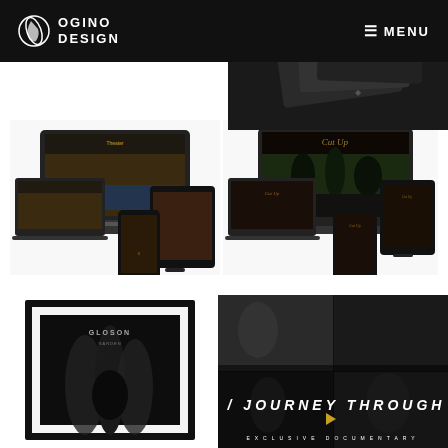OGINO DESIGN  ≡ MENU
[Figure (screenshot): Multi-device mockup showing a theater/venue website design on laptop, tablet and mobile]
[Figure (screenshot): Multi-device mockup showing Cut Up website design with dark forest/gothic theme on laptop, tablet and mobile]
[Figure (photo): Framed print of GLOSON album artwork with black and white dark forest imagery]
[Figure (screenshot): MONO / JOURNEY THROUGH HELL exclusive documentary video thumbnail with play button]